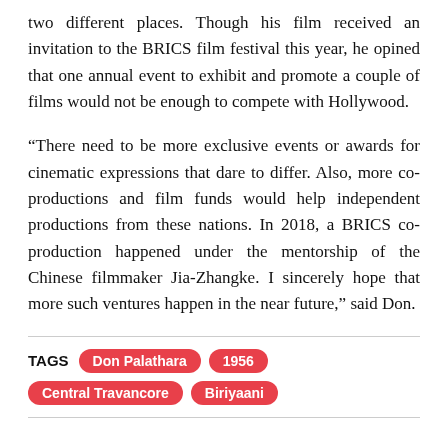two different places. Though his film received an invitation to the BRICS film festival this year, he opined that one annual event to exhibit and promote a couple of films would not be enough to compete with Hollywood.
“There need to be more exclusive events or awards for cinematic expressions that dare to differ. Also, more co-productions and film funds would help independent productions from these nations. In 2018, a BRICS co-production happened under the mentorship of the Chinese filmmaker Jia-Zhangke. I sincerely hope that more such ventures happen in the near future,” said Don.
TAGS: Don Palathara, 1956, Central Travancore, Biriyaani